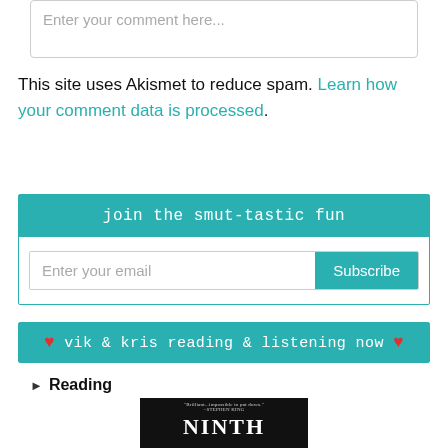[Figure (screenshot): Comment text area input box with placeholder text 'Enter your comment here...']
This site uses Akismet to reduce spam. Learn how your comment data is processed.
[Figure (screenshot): Newsletter signup widget with teal header 'join the smut-tastic fun', email input field and Subscribe button]
[Figure (screenshot): Reading widget with teal header '♥ vik & kris reading & listening now ♥' and book cover for 'Ninth' with Stephen King quote]